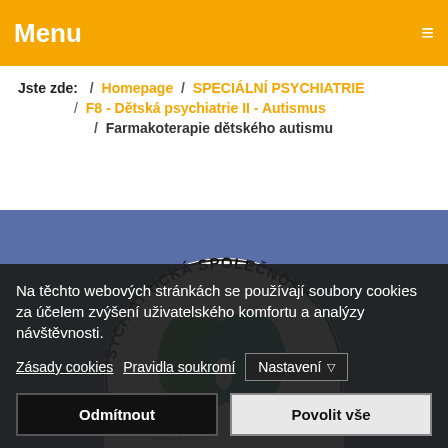Menu
Jste zde: / Homepage / SPECIÁLNÍ PSYCHIATRIE / F8 - Dětská psychiatrie II - Autismus / Farmakoterapie dětského autismu
[Figure (logo): Psychiatrická společnost logo — circular badge with green and teal brain/head shapes on blue background, text 'PSYCHIATRICKÁ SPOLEČNOST' around top arc]
Na těchto webových stránkách se používají soubory cookies za účelem zvýšení uživatelského komfortu a analýzy návštěvnosti.
Zásady cookies   Pravidla soukromí   Nastavení ▼
Odmítnout   Povolit vše